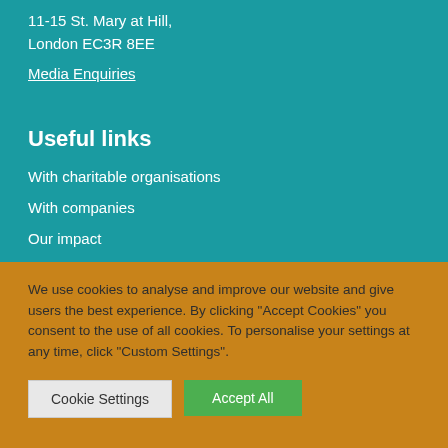11-15 St. Mary at Hill,
London EC3R 8EE
Media Enquiries
Useful links
With charitable organisations
With companies
Our impact
We use cookies to analyse and improve our website and give users the best experience. By clicking “Accept Cookies” you consent to the use of all cookies. To personalise your settings at any time, click “Custom Settings”.
Cookie Settings
Accept All